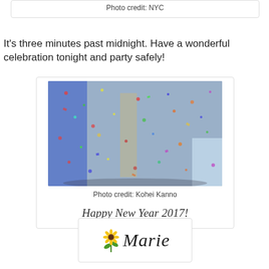Photo credit:  NYC
It's three minutes past midnight.  Have a wonderful celebration tonight and party safely!
[Figure (photo): New Year's celebration in Times Square with colorful confetti filling the air and crowds of people below bright lights]
Photo credit:  Kohei Kanno
Happy New Year 2017!
[Figure (illustration): Signature block with sunflower icon and cursive 'Marie' text]